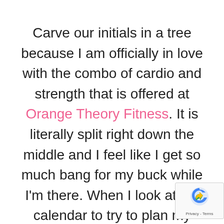Carve our initials in a tree because I am officially in love with the combo of cardio and strength that is offered at Orange Theory Fitness. It is literally split right down the middle and I feel like I get so much bang for my buck while I'm there. When I look at my calendar to try to plan my workouts, I always think about OTF first because I burn sooo many more calories than my normal routine. Girls, I am burning no less than 500 calories per class, and sometimes way more! I ha clocked in the upper 600s on days I'l